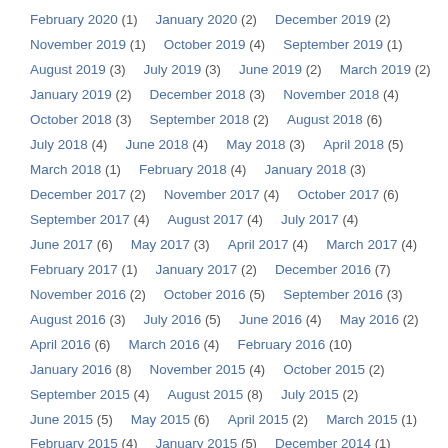February 2020 (1)   January 2020 (2)   December 2019 (2)
November 2019 (1)   October 2019 (4)   September 2019 (1)
August 2019 (3)   July 2019 (3)   June 2019 (2)   March 2019 (2)
January 2019 (2)   December 2018 (3)   November 2018 (4)
October 2018 (3)   September 2018 (2)   August 2018 (6)
July 2018 (4)   June 2018 (4)   May 2018 (3)   April 2018 (5)
March 2018 (1)   February 2018 (4)   January 2018 (3)
December 2017 (2)   November 2017 (4)   October 2017 (6)
September 2017 (4)   August 2017 (4)   July 2017 (4)
June 2017 (6)   May 2017 (3)   April 2017 (4)   March 2017 (4)
February 2017 (1)   January 2017 (2)   December 2016 (7)
November 2016 (2)   October 2016 (5)   September 2016 (3)
August 2016 (3)   July 2016 (5)   June 2016 (4)   May 2016 (2)
April 2016 (6)   March 2016 (4)   February 2016 (10)
January 2016 (8)   November 2015 (4)   October 2015 (2)
September 2015 (4)   August 2015 (8)   July 2015 (2)
June 2015 (5)   May 2015 (6)   April 2015 (2)   March 2015 (1)
February 2015 (4)   January 2015 (5)   December 2014 (1)